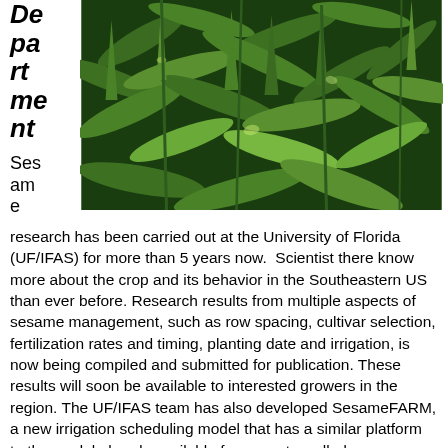Department
[Figure (photo): Close-up photograph of sesame plant with green leaves and stems]
Sesame research has been carried out at the University of Florida (UF/IFAS) for more than 5 years now.  Scientist there know more about the crop and its behavior in the Southeastern US than ever before. Research results from multiple aspects of sesame management, such as row spacing, cultivar selection, fertilization rates and timing, planting date and irrigation, is now being compiled and submitted for publication. These results will soon be available to interested growers in the region. The UF/IFAS team has also developed SesameFARM, a new irrigation scheduling model that has a similar platform to the model already available for peanuts, called PeanutFARM